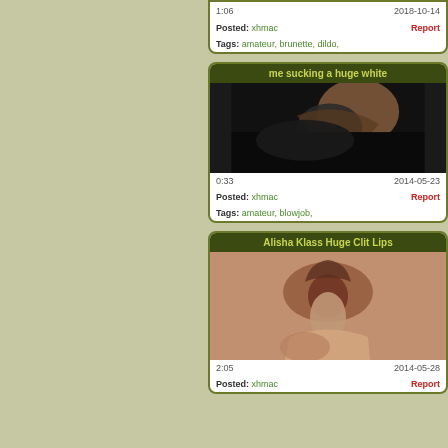1:06   2018-10-14  Posted: xhmac  Report  Tags: amateur, brunette, dildo,
me sucking a huge white
[Figure (photo): Dark video thumbnail showing person performing oral sex]
0:33   2014-05-23  Posted: xhmac  Report  Tags: amateur, blowjob,
Alisha Klass Huge Clit Lips
[Figure (photo): Close-up video thumbnail of female genitalia being touched]
2:05   2014-05-28  Posted: xhmac  Report